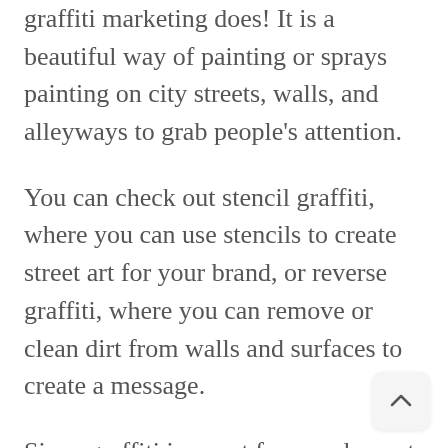graffiti marketing does! It is a beautiful way of painting or sprays painting on city streets, walls, and alleyways to grab people's attention.
You can check out stencil graffiti, where you can use stencils to create street art for your brand, or reverse graffiti, where you can remove or clean dirt from walls and surfaces to create a message.
Since graffiti is an art form and a part of street culture, it is definitely a great way to get people talking about your brand. But, remember to